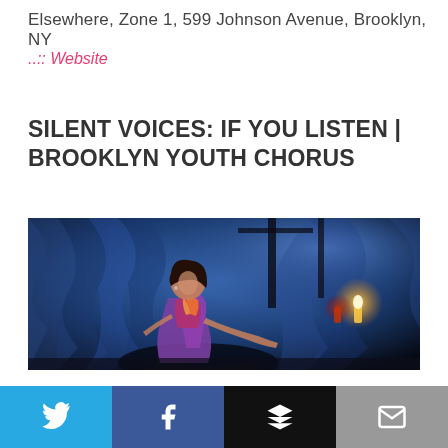Elsewhere, Zone 1, 599 Johnson Avenue, Brooklyn, NY
..:: Website
SILENT VOICES: IF YOU LISTEN | BROOKLYN YOUTH CHORUS
[Figure (photo): A performer on stage wearing a purple and magenta outfit with an orange sash, sitting against a dramatic blue-lit fabric backdrop with candles in the background.]
Twitter | Facebook | Buffer | Email social share buttons